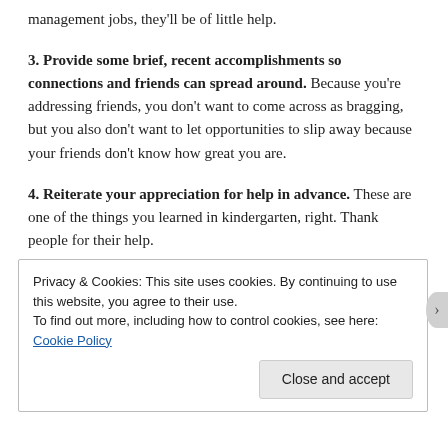management jobs, they'll be of little help.
3. Provide some brief, recent accomplishments so connections and friends can spread around. Because you're addressing friends, you don't want to come across as bragging, but you also don't want to let opportunities to slip away because your friends don't know how great you are.
4. Reiterate your appreciation for help in advance. These are one of the things you learned in kindergarten, right. Thank people for their help.
Privacy & Cookies: This site uses cookies. By continuing to use this website, you agree to their use.
To find out more, including how to control cookies, see here: Cookie Policy